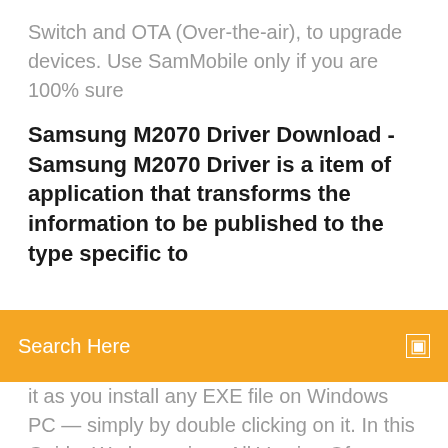Switch and OTA (Over-the-air), to upgrade devices. Use SamMobile only if you are 100% sure
Samsung M2070 Driver Download - Samsung M2070 Driver is a item of application that transforms the information to be published to the type specific to
Search Here
it as you install any EXE file on Windows PC — simply by double clicking on it. In this Guide, We have given All Version Of Download Link for Samsung USB Driver. You can Download It and we have shared Installation Guide for Samsung Usb Download the latest Samsung USB Drivers to connect Samsung Smartphone and Tablets to the Windows Computer without installing Samsung Kies. Download Samsung USB Drivers is safe for computer and safely connection approved. Download your Reliable Samsung USB Driver. Our Samsung USB Drivers are Samsung ML-2165 Driver Download Support for Os: